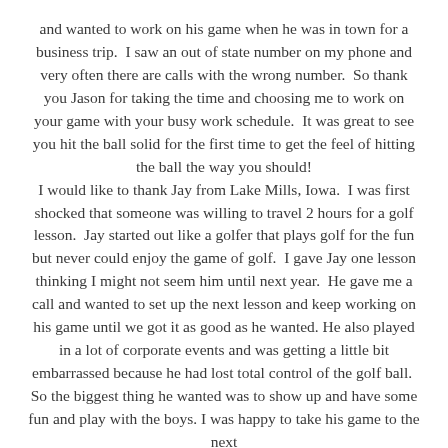and wanted to work on his game when he was in town for a business trip.  I saw an out of state number on my phone and very often there are calls with the wrong number.  So thank you Jason for taking the time and choosing me to work on your game with your busy work schedule.  It was great to see you hit the ball solid for the first time to get the feel of hitting the ball the way you should! I would like to thank Jay from Lake Mills, Iowa.  I was first shocked that someone was willing to travel 2 hours for a golf lesson.  Jay started out like a golfer that plays golf for the fun but never could enjoy the game of golf.  I gave Jay one lesson thinking I might not seem him until next year.  He gave me a call and wanted to set up the next lesson and keep working on his game until we got it as good as he wanted. He also played in a lot of corporate events and was getting a little bit embarrassed because he had lost total control of the golf ball.  So the biggest thing he wanted was to show up and have some fun and play with the boys.  I was happy to take his game to the next